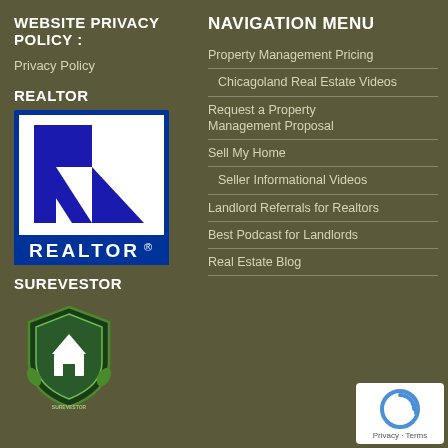WEBSITE PRIVACY POLICY :
Privacy Policy
REALTOR
[Figure (logo): REALTOR logo: blue and white square with large R and geometric shape, text REALTOR with registered trademark symbol]
SUREVESTOR
[Figure (logo): SureVestor shield badge logo with house icon, green and dark blue colors, text: PREFERRED CHOICE FOR LANDLORD PROTECTION INSURANCE]
NAVIGATION MENU
Property Management Pricing
Chicagoland Real Estate Videos
Request a Property Management Proposal
Sell My Home
Seller Informational Videos
Landlord Referrals for Realtors
Best Podcast for Landlords
Real Estate Blog